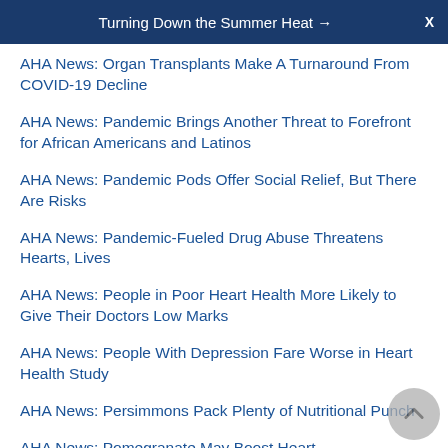Turning Down the Summer Heat →  X
AHA News: Organ Transplants Make A Turnaround From COVID-19 Decline
AHA News: Pandemic Brings Another Threat to Forefront for African Americans and Latinos
AHA News: Pandemic Pods Offer Social Relief, But There Are Risks
AHA News: Pandemic-Fueled Drug Abuse Threatens Hearts, Lives
AHA News: People in Poor Heart Health More Likely to Give Their Doctors Low Marks
AHA News: People With Depression Fare Worse in Heart Health Study
AHA News: Persimmons Pack Plenty of Nutritional Punch
AHA News: Pomegranate May Boost Heart-…